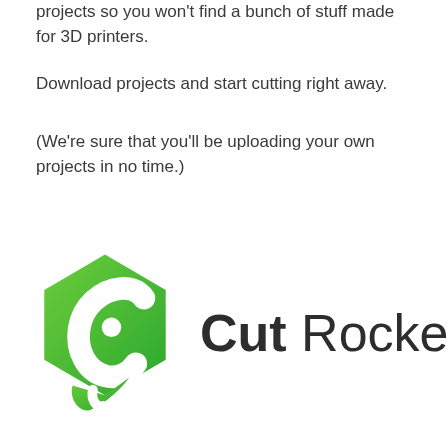projects so you won't find a bunch of stuff made for 3D printers.
Download projects and start cutting right away.
(We're sure that you'll be uploading your own projects in no time.)
[Figure (logo): Cut Rocket logo: a green stylized hexagonal shape with a rocket/bird cutout design, followed by the wordmark 'Cut Rocket' in dark gray sans-serif text with Cut in bold and Rocket in regular weight.]